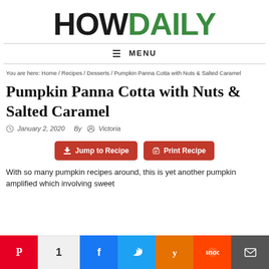HOWDAILY
≡ MENU
You are here: Home / Recipes / Desserts / Pumpkin Panna Cotta with Nuts & Salted Caramel
Pumpkin Panna Cotta with Nuts & Salted Caramel
January 2, 2020  By  Victoria
Jump to Recipe  Print Recipe
With so many pumpkin recipes around, this is yet another pumpkin amplified which involving sweet